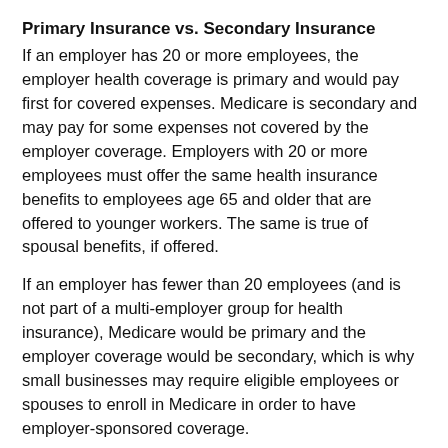Primary Insurance vs. Secondary Insurance
If an employer has 20 or more employees, the employer health coverage is primary and would pay first for covered expenses. Medicare is secondary and may pay for some expenses not covered by the employer coverage. Employers with 20 or more employees must offer the same health insurance benefits to employees age 65 and older that are offered to younger workers. The same is true of spousal benefits, if offered.
If an employer has fewer than 20 employees (and is not part of a multi-employer group for health insurance), Medicare would be primary and the employer coverage would be secondary, which is why small businesses may require eligible employees or spouses to enroll in Medicare in order to have employer-sponsored coverage.
Ask your employer if you have questions about your coverage at age 65.
Part A Hospital Insurance and HSAs
Medicare Part A helps pay for inpatient hospital care as